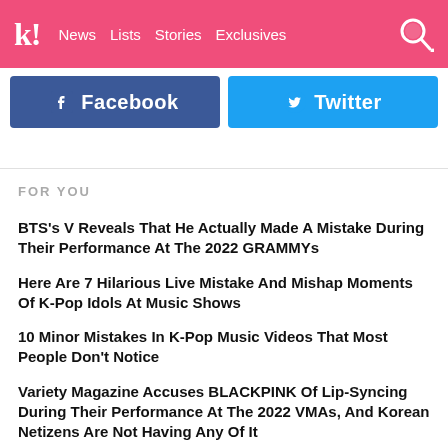k! News Lists Stories Exclusives
[Figure (screenshot): Facebook and Twitter social share buttons]
FOR YOU
BTS's V Reveals That He Actually Made A Mistake During Their Performance At The 2022 GRAMMYs
Here Are 7 Hilarious Live Mistake And Mishap Moments Of K-Pop Idols At Music Shows
10 Minor Mistakes In K-Pop Music Videos That Most People Don't Notice
Variety Magazine Accuses BLACKPINK Of Lip-Syncing During Their Performance At The 2022 VMAs, And Korean Netizens Are Not Having Any Of It